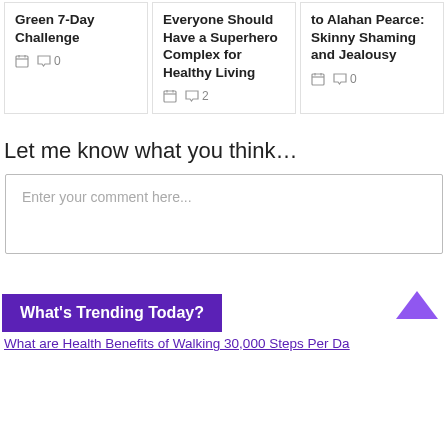Green 7-Day Challenge
0 comments
Everyone Should Have a Superhero Complex for Healthy Living
2 comments
to Alahan Pearce: Skinny Shaming and Jealousy
0 comments
Let me know what you think…
Enter your comment here...
What's Trending Today?
What are Health Benefits of Walking 30,000 Steps Per Day?